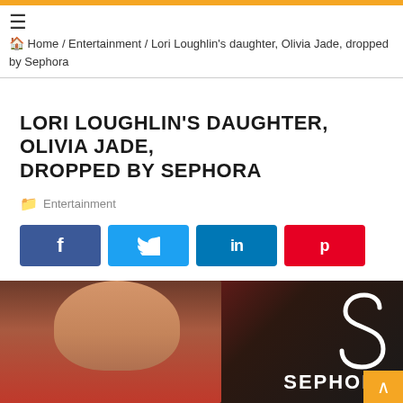☰ Home / Entertainment / Lori Loughlin's daughter, Olivia Jade, dropped by Sephora
LORI LOUGHLIN'S DAUGHTER, OLIVIA JADE, DROPPED BY SEPHORA
Entertainment
[Figure (screenshot): Social share buttons: Facebook (blue), Twitter (light blue), LinkedIn (blue), Pinterest (red)]
[Figure (photo): Photo of Olivia Jade in front of a Sephora backdrop with the Sephora logo and S-mark visible]